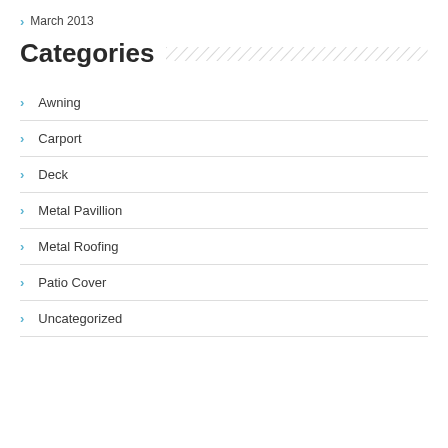March 2013
Categories
Awning
Carport
Deck
Metal Pavillion
Metal Roofing
Patio Cover
Uncategorized